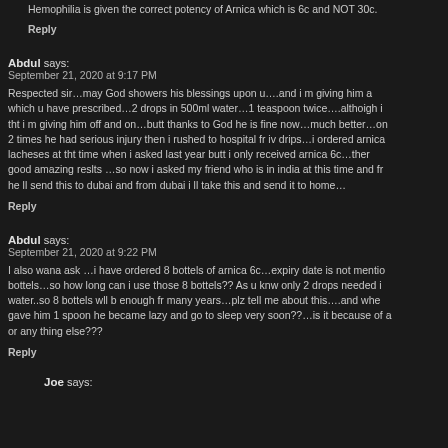Hemophilia is given the correct potency of Arnica which is 6c and NOT 30c.
Reply
Abdul says:
September 21, 2020 at 9:17 PM
Respected sir…may God showers his blessings upon u….and i m giving him arnica which u have prescribed…2 drops in 500ml water…1 teaspoon twice….althoigh i tht i m giving him off and on…butt thanks to God he is fine now…much better…on 2 times he had serious injury then i rushed to hospital fr iv drips…i ordered arnica lacheses at tht time when i asked last year butt i only received arnica 6c…there good amazing reslts …so now i asked my friend who is in india at this time and from he ll send this to dubai and from dubai i ll take this and send it to home…
Reply
Abdul says:
September 21, 2020 at 9:22 PM
I also wana ask …i have ordered 8 bottels of arnica 6c…expiry date is not mentioned on bottels…so how long can i use those 8 bottels?? As u knw only 2 drops needed in water..so 8 bottels wll b enough fr many years…plz tell me about this….and when i gave him 1 spoon he became lazy and go to sleep very soon??…is it because of arnica or any thing else???
Reply
Joe says: